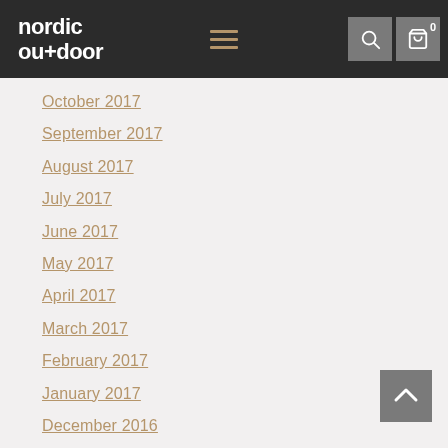nordic ou+-door
October 2017
September 2017
August 2017
July 2017
June 2017
May 2017
April 2017
March 2017
February 2017
January 2017
December 2016
November 2016
October 2016
June 2016